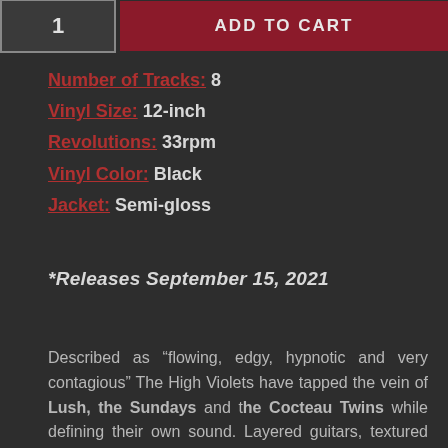1 | ADD TO CART
Number of Tracks: 8
Vinyl Size: 12-inch
Revolutions: 33rpm
Vinyl Color: Black
Jacket: Semi-gloss
*Releases September 15, 2021
Described as “flowing, edgy, hypnotic and very contagious” The High Violets have tapped the vein of Lush, the Sundays and the Cocteau Twins while defining their own sound. Layered guitars, textured arrangements and ethereal vocals combine to create a skilled and respectful blend of dreampop and shoegazing sensibilities.